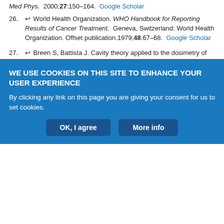Med Phys. 2000;27:150–164. Google Scholar
26. ↩ World Health Organization. WHO Handbook for Reporting Results of Cancer Treatment. Geneva, Switzerland: World Health Organization. Offset publication.1979;48:67–68. Google Scholar
27. ↩ Breen S, Battista J. Cavity theory applied to the dosimetry of systemic radiotherapy of bone metastases. Phys Med Biol. 2000;45:879–896. PubMed Google Scholar
28. ↩ Blake GM, Zivanovic MA, McEwan AJ, Batty VB, Ackery DM. 89Sr radionuclide therapy: dosimetry and haematologic toxicity in two patients with metastasising prostatic carcinoma. Eur J Nucl Med. 1987;13:41–46. PubMed Google Scholar
WE USE COOKIES ON THIS SITE TO ENHANCE YOUR USER EXPERIENCE
By clicking any link on this page you are giving your consent for us to set cookies.
OK, I agree   More info